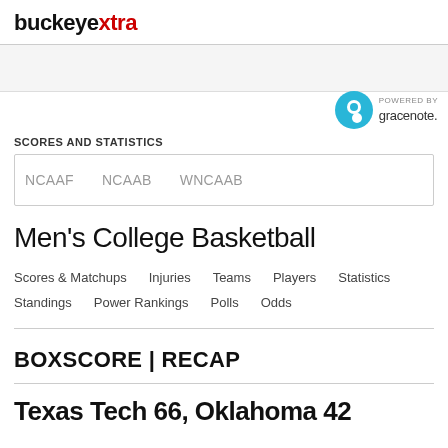buckeyextra
[Figure (logo): Gracenote logo - blue circle with G, powered by gracenote text]
SCORES AND STATISTICS
NCAAF   NCAAB   WNCAAB
Men's College Basketball
Scores & Matchups
Injuries
Teams
Players
Statistics
Standings
Power Rankings
Polls
Odds
BOXSCORE | RECAP
Texas Tech 66, Oklahoma 42